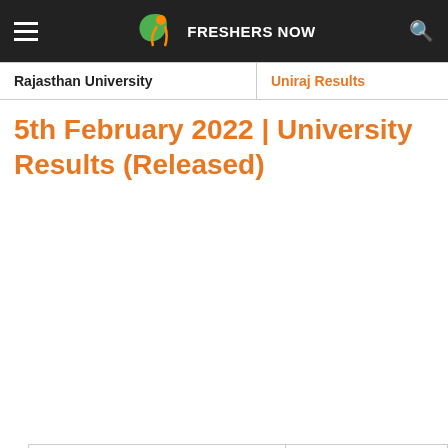FRESHERS NOW
| Rajasthan University | Uniraj Results |
| --- | --- |
5th February 2022 | University Results (Released)
| University Name | Result Links |
| --- | --- |
| MGU Nalgonda | MGU Degree Results |
| Acharya Nagarjuna University (ANU) | ANU Results |
| Andhra University | AU Degree Results |